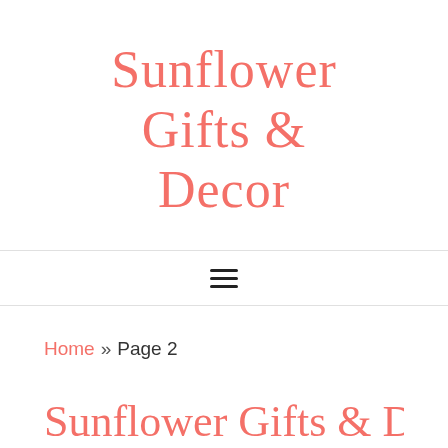[Figure (logo): Sunflower Gifts & Decor logo in coral/salmon cursive script font, centered at the top of the page]
[Figure (other): Hamburger menu icon (three horizontal lines) centered in navigation bar]
Home » Page 2
Sunflower Gifts & Decor (partial, cropped at bottom)